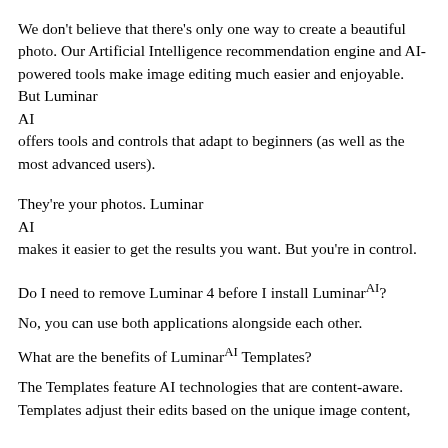We don't believe that there's only one way to create a beautiful photo. Our Artificial Intelligence recommendation engine and AI-powered tools make image editing much easier and enjoyable. But Luminar AI offers tools and controls that adapt to beginners (as well as the most advanced users).
They're your photos. Luminar AI makes it easier to get the results you want. But you're in control.
Do I need to remove Luminar 4 before I install LuminarAI?
No, you can use both applications alongside each other.
What are the benefits of LuminarAI Templates?
The Templates feature AI technologies that are content-aware. Templates adjust their edits based on the unique image content,